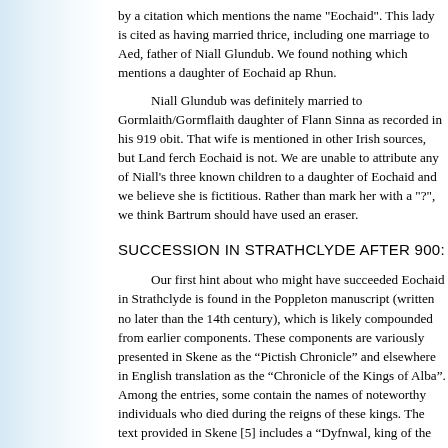by a citation which mentions the name "Eochaid". This lady is cited as having married thrice, including one marriage to Aed, father of Niall Glundub. We found nothing which mentions a daughter of Eochaid ap Rhun.
Niall Glundub was definitely married to Gormlaith/Gormflaith daughter of Flann Sinna as recorded in his 919 obit. That wife is mentioned in other Irish sources, but Land ferch Eochaid is not. We are unable to attribute any of Niall's three known children to a daughter of Eochaid and we believe she is fictitious. Rather than mark her with a "?", we think Bartrum should have used an eraser.
SUCCESSION IN STRATHCLYDE AFTER 900:
Our first hint about who might have succeeded Eochaid in Strathclyde is found in the Poppleton manuscript (written no later than the 14th century), which is likely compounded from earlier components. These components are variously presented in Skene as the “Pictish Chronicle” and elsewhere in English translation as the “Chronicle of the Kings of Alba”. Among the entries, some contain the names of noteworthy individuals who died during the reigns of these kings. The text provided in Skene [5] includes a “Dyfnwal, king of the Britons”.